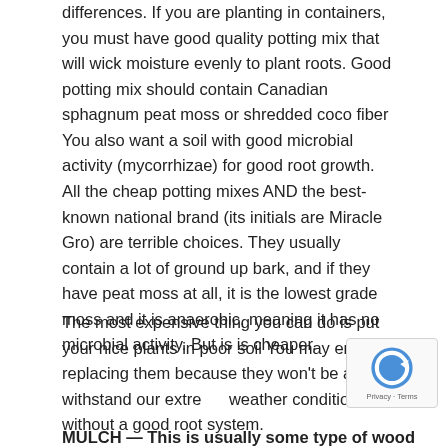differences. If you are planting in containers, you must have good quality potting mix that will wick moisture evenly to plant roots. Good potting mix should contain Canadian sphagnum peat moss or shredded coco fiber You also want a soil with good microbial activity (mycorrhizae) for good root growth. All the cheap potting mixes AND the best-known national brand (its initials are Miracle Gro) are terrible choices. They usually contain a lot of ground up bark, and if they have peat moss at all, it is the lowest grade moss and it is anaerobic, meaning it has no microbial activity. But is is cheaper.
The most expensive thing you can do is put your nice plants in poor soil You may end up replacing them because they won't be able to withstand our extreme weather conditions without a good root system.
MULCH — This is usually some type of wood chips or